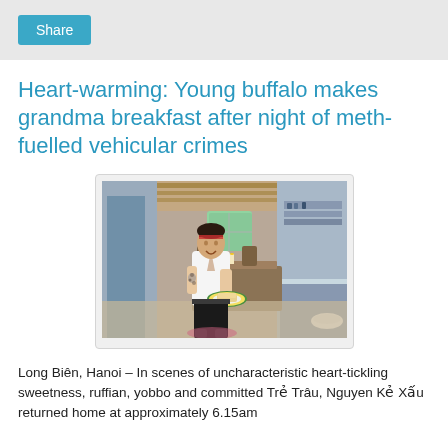Share
Heart-warming: Young buffalo makes grandma breakfast after night of meth-fuelled vehicular crimes
[Figure (photo): A young tattooed man carrying a plate with food in a rustic kitchen interior, photorealistic illustration style]
Long Biên, Hanoi – In scenes of uncharacteristic heart-tickling sweetness, ruffian, yobbo and committed Trẻ Trâu, Nguyen Kẻ Xấu returned home at approximately 6.15am